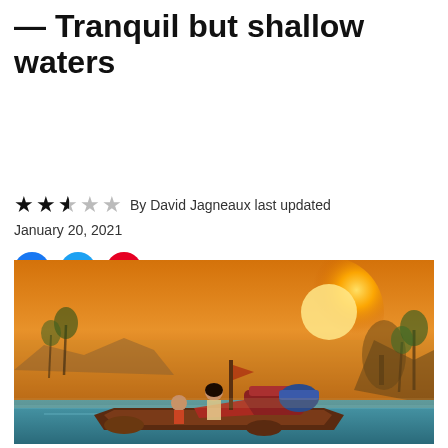Depths for Studio review — Tranquil but shallow waters
★★★ ☆ ☆ By David Jagneaux last updated January 20, 2021
Comments (2)
[Figure (photo): Screenshot from a video game showing characters on a raft/boat on water with a warm orange sunset sky, tropical islands and palm trees in the background.]